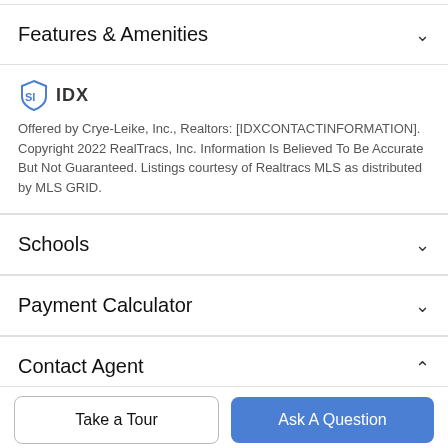Features & Amenities
[Figure (logo): IDX logo with shield icon and IDX text]
Offered by Crye-Leike, Inc., Realtors: [IDXCONTACTINFORMATION]. Copyright 2022 RealTracs, Inc. Information Is Believed To Be Accurate But Not Guaranteed. Listings courtesy of Realtracs MLS as distributed by MLS GRID.
Schools
Payment Calculator
Contact Agent
Take a Tour
Ask A Question